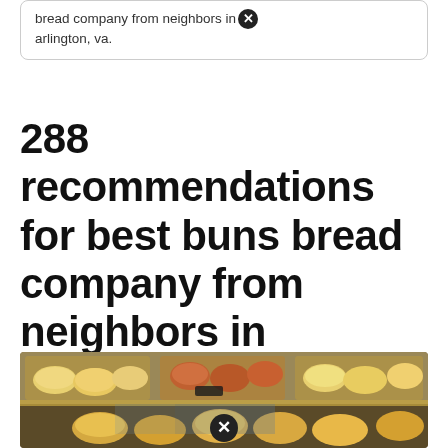bread company from neighbors in arlington, va.
288 recommendations for best buns bread company from neighbors in arlington, va.
[Figure (photo): Photo of a bakery display case showing various buns and breads arranged in baskets on two visible shelves. Upper shelf shows lighter buns, cinnamon rolls, and topped buns in wicker baskets. Lower shelf shows more buns on wooden trays. Warm bakery lighting.]